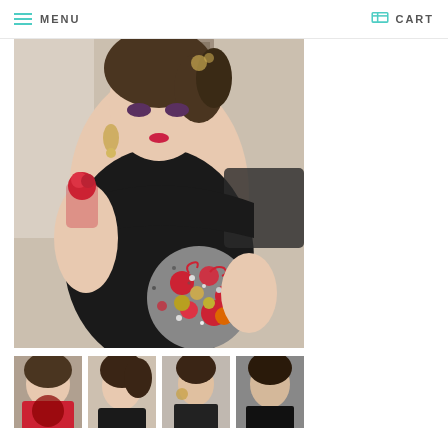MENU   CART
[Figure (photo): Woman in black off-shoulder dress holding a decorative jeweled brooch bouquet and a glassware item, with elaborate earrings and updo hairstyle]
[Figure (photo): Thumbnail 1: woman with bouquet close-up]
[Figure (photo): Thumbnail 2: woman portrait]
[Figure (photo): Thumbnail 3: woman side view]
[Figure (photo): Thumbnail 4: woman with dark background]